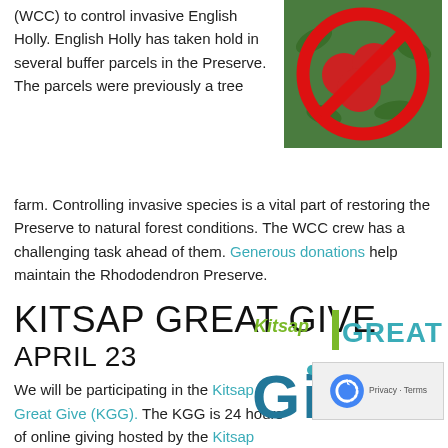(WCC) to control invasive English Holly. English Holly has taken hold in several buffer parcels in the Preserve. The parcels were previously a tree farm. Controlling invasive species is a vital part of restoring the Preserve to natural forest conditions. The WCC crew has a challenging task ahead of them. Generous donations help maintain the Rhododendron Preserve.
[Figure (photo): Photo of red English Holly berries with a red circle-slash prohibition symbol overlaid]
KITSAP GREAT GIVE
APRIL 23
We will be participating in the Kitsap Great Give (KGG). The KGG is 24 hours of online giving hosted by the Kitsap...
[Figure (logo): Kitsap Great Give logo with stylized text in teal and green]